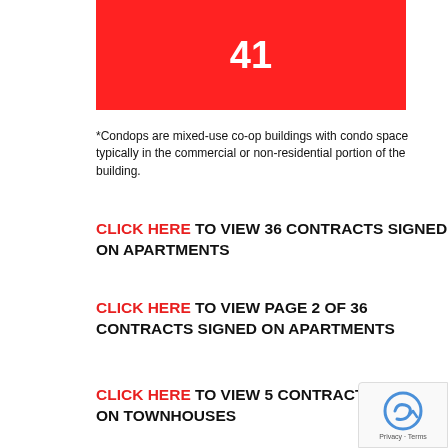[Figure (other): Red box with white number 41 displayed prominently]
*Condops are mixed-use co-op buildings with condo space typically in the commercial or non-residential portion of the building.
CLICK HERE TO VIEW 36 CONTRACTS SIGNED ON APARTMENTS
CLICK HERE TO VIEW PAGE 2 OF 36 CONTRACTS SIGNED ON APARTMENTS
CLICK HERE TO VIEW 5 CONTRACTS SIGNED ON TOWNHOUSES